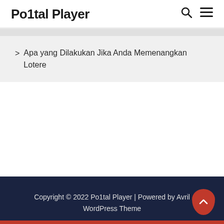Po1tal Player
> Apa yang Dilakukan Jika Anda Memenangkan Lotere
Copyright © 2022 Po1tal Player | Powered by Avril WordPress Theme